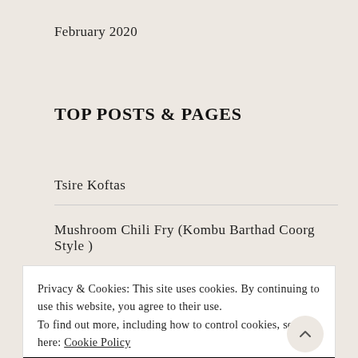February 2020
TOP POSTS & PAGES
Tsire Koftas
Mushroom Chili Fry (Kombu Barthad Coorg Style )
Privacy & Cookies: This site uses cookies. By continuing to use this website, you agree to their use.
To find out more, including how to control cookies, see here: Cookie Policy
CLOSE AND ACCEPT